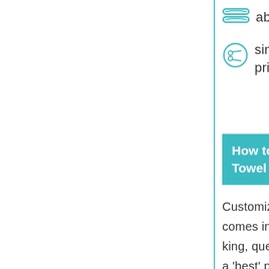absorbent
single sides are fully all over printed
(CLICK HERE TO SEE OUR ADVANTAGE)
How to Customized Size for Towel hoodies for adults
Customized Hooded Beach Towel comes in a variety of sizes such as king, queen, kids and each size serves a 'best' purpose for you.